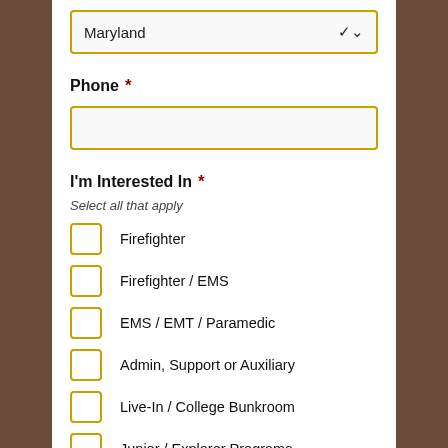Maryland
Phone *
I'm Interested In *
Select all that apply
Firefighter
Firefighter / EMS
EMS / EMT / Paramedic
Admin, Support or Auxiliary
Live-In / College Bunkroom
Junior / Explorer Programs